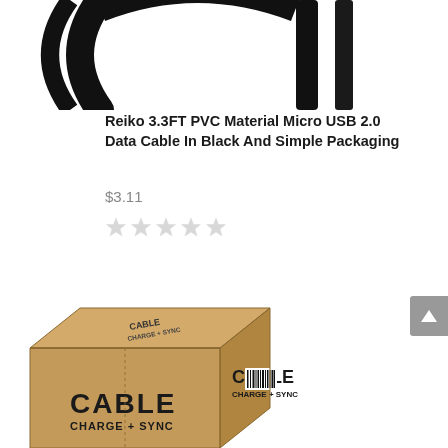[Figure (photo): Top portion of a black USB cable coiled, showing the cable and connector ends against white background]
Reiko 3.3FT PVC Material Micro USB 2.0 Data Cable In Black And Simple Packaging
$3.11
[Figure (other): Five empty/unfilled star rating icons in light gray]
[Figure (photo): Cardboard box product packaging labeled CABLE CHARGE + SYNC with barcode on the side]